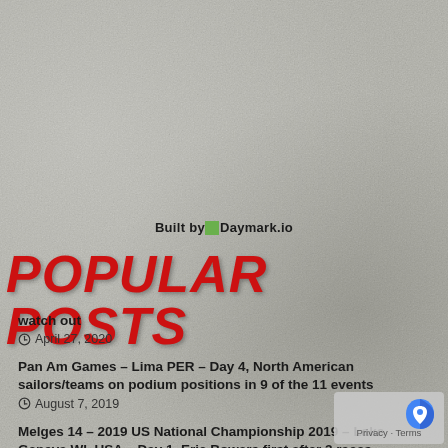Built by Daymark.io
POPULAR POSTS
watch out
April 27, 2020
Pan Am Games – Lima PER – Day 4, North American sailors/teams on podium positions in 9 of the 11 events
August 7, 2019
Melges 14 – 2019 US National Championship 2019 – Lake Geneva WI, USA – Day 1, Eric Bowers first after 3 races
June 8, 2019
golf sucks, so does sailing
March 10, 2016
[Figure (logo): reCAPTCHA logo with Privacy and Terms text]